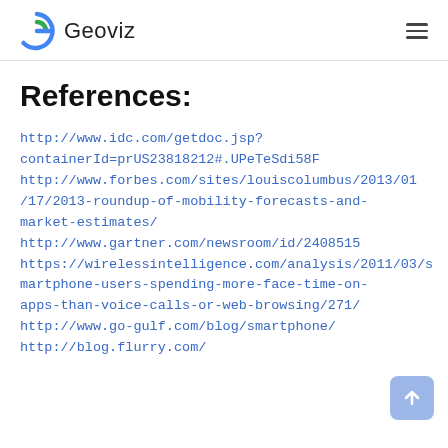Geoviz [logo]
References:
http://www.idc.com/getdoc.jsp?containerId=prUS23818212#.UPeTeSdi58F
http://www.forbes.com/sites/louiscolumbus/2013/01/17/2013-roundup-of-mobility-forecasts-and-market-estimates/
http://www.gartner.com/newsroom/id/2408515
https://wirelessintelligence.com/analysis/2011/03/smartphone-users-spending-more-face-time-on-apps-than-voice-calls-or-web-browsing/271/
http://www.go-gulf.com/blog/smartphone/
http://blog.flurry.com/